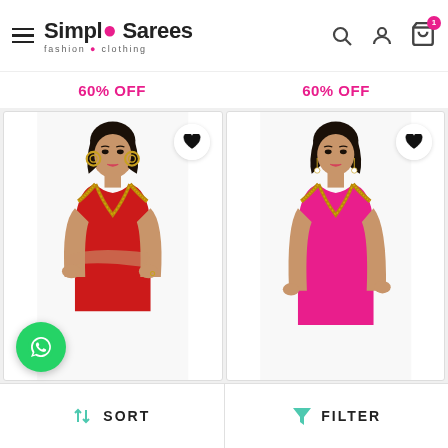Simple Sarees - fashion • clothing
60% OFF
60% OFF
[Figure (photo): Model wearing red sleeveless blouse with gold embroidered V-neckline border, with gold hoop earrings, arms crossed]
[Figure (photo): Model wearing hot pink sleeveless blouse with gold embroidered V-neckline border, with pearl drop earrings]
SORT   FILTER